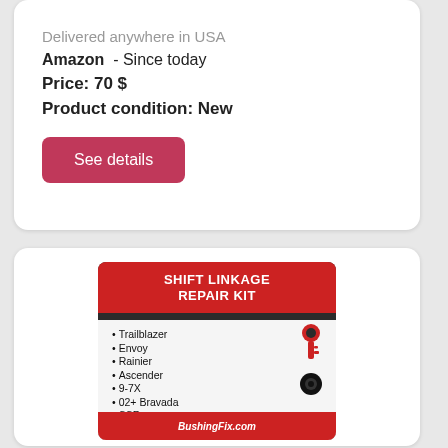Delivered anywhere in USA
Amazon - Since today
Price: 70 $
Product condition: New
See details
[Figure (photo): Product image of a Shift Linkage Repair Kit in packaging showing red and black components including a key-shaped piece and a ring, compatible with Trailblazer, Envoy, Rainier, Ascender, 9-7X, 02+ Bravada, SSR, H2]